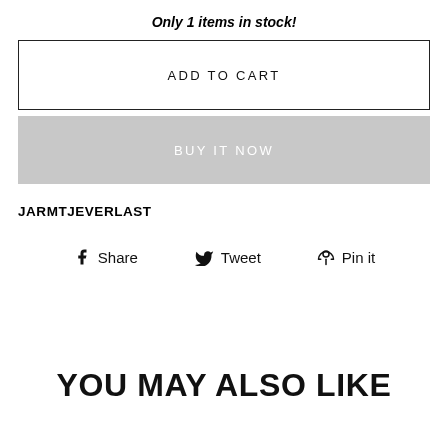Only 1 items in stock!
ADD TO CART
BUY IT NOW
JARMTJEVERLAST
Share   Tweet   Pin it
YOU MAY ALSO LIKE